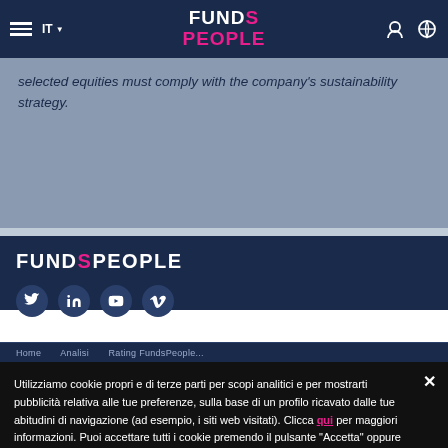FundsPeople - IT navigation bar
selected equities must comply with the company's sustainability strategy.
[Figure (logo): FundsPeople logo in footer with social media icons (Twitter, LinkedIn, YouTube, Vimeo)]
Utilizziamo cookie propri e di terze parti per scopi analitici e per mostrarti pubblicità relativa alle tue preferenze, sulla base di un profilo ricavato dalle tue abitudini di navigazione (ad esempio, i siti web visitati). Clicca qui per maggiori informazioni. Puoi accettare tutti i cookie premendo il pulsante "Accetta" oppure configurarli o rifiutarne l'utilizzo cliccando qui.